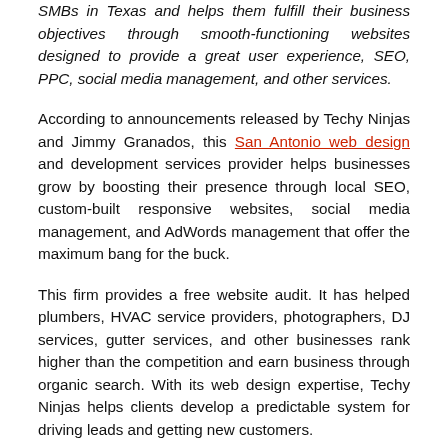SMBs in Texas and helps them fulfill their business objectives through smooth-functioning websites designed to provide a great user experience, SEO, PPC, social media management, and other services.
According to announcements released by Techy Ninjas and Jimmy Granados, this San Antonio web design and development services provider helps businesses grow by boosting their presence through local SEO, custom-built responsive websites, social media management, and AdWords management that offer the maximum bang for the buck.
This firm provides a free website audit. It has helped plumbers, HVAC service providers, photographers, DJ services, gutter services, and other businesses rank higher than the competition and earn business through organic search. With its web design expertise, Techy Ninjas helps clients develop a predictable system for driving leads and getting new customers.